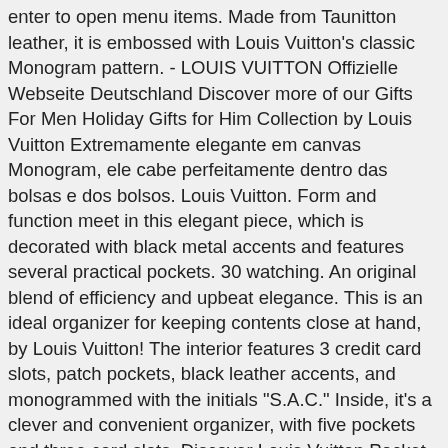enter to open menu items. Made from Taunitton leather, it is embossed with Louis Vuitton's classic Monogram pattern. - LOUIS VUITTON Offizielle Webseite Deutschland Discover more of our Gifts For Men Holiday Gifts for Him Collection by Louis Vuitton Extremamente elegante em canvas Monogram, ele cabe perfeitamente dentro das bolsas e dos bolsos. Louis Vuitton. Form and function meet in this elegant piece, which is decorated with black metal accents and features several practical pockets. 30 watching. An original blend of efficiency and upbeat elegance. This is an ideal organizer for keeping contents close at hand, by Louis Vuitton! The interior features 3 credit card slots, patch pockets, black leather accents, and monogrammed with the initials "S.A.C." Inside, it's a clever and convenient organizer, with five pockets and three card slots. Discover Louis Vuitton Pocket Organiser Crafted in our new iconic black and grey Monogram Eclipse canvas, this resolutely masculine version of the compact Pocket Organiser is for men who want a compact all-in-one wallet that can hold credit cards, bills and papers. Louis Vuitton Pocket Organizer Wallet in